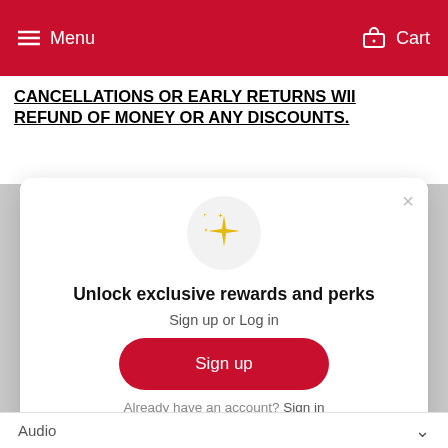Menu  Cart
CANCELLATIONS OR EARLY RETURNS WI... REFUND OF MONEY OR ANY DISCOUNTS.
[Figure (screenshot): Modal dialog with sparkle emoji icon, title 'Unlock exclusive rewards and perks', subtitle 'Sign up or Log in', a red 'Sign up' button, and a 'Already have an account? Sign in' link with a close (x) button in the top right.]
Audio